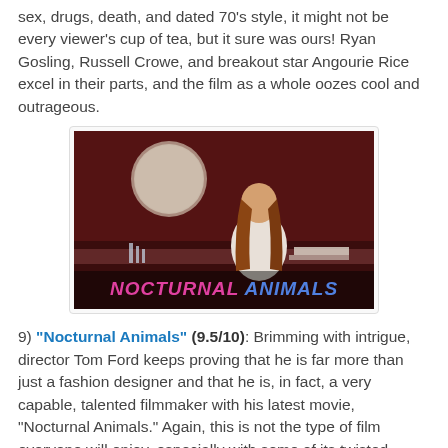sex, drugs, death, and dated 70's style, it might not be every viewer's cup of tea, but it sure was ours! Ryan Gosling, Russell Crowe, and breakout star Angourie Rice excel in their parts, and the film as a whole oozes cool and outrageous.
[Figure (photo): Movie still from Nocturnal Animals showing a woman with long red hair sitting at a desk in a dark red room with a circular mirror behind her. The title 'NOCTURNAL ANIMALS' is displayed at the bottom in stylized text.]
9) "Nocturnal Animals" (9.5/10): Brimming with intrigue, director Tom Ford keeps proving that he is far more than just a fashion designer and that he is, in fact, a very capable, talented filmmaker with his latest movie, "Nocturnal Animals." Again, this is not the type of film everyone will enjoy, especially with some of its twisted themes and visuals. "Even many cinephiles will see this movie as merely pretentious drivel, the inner workings of failure, revenge, intention, and